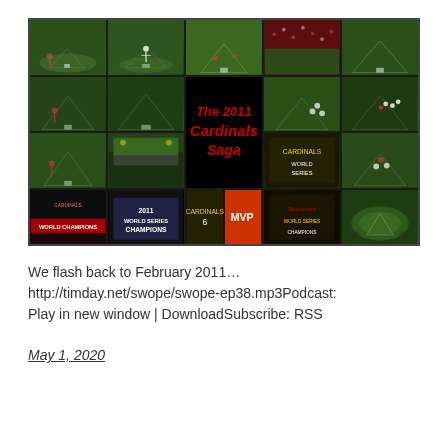[Figure (photo): Collage of baseball game photos showing the 2011 Cardinals Saga — multiple shots of baseball fields, players, crowd, World Series Champions scoreboard, and an MVP sign, arranged in a grid with a central black panel titled 'The 2011 Cardinals Saga' in red italic text.]
We flash back to February 2011… http://timday.net/swope/swope-ep38.mp3Podcast: Play in new window | DownloadSubscribe: RSS
May 1, 2020